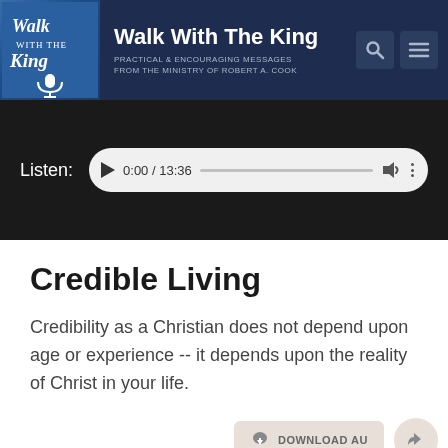Walk With The King — PRACTICAL & ENCOURAGING MESSAGES FROM THE MINISTRY OF ROBERT A. COOK
[Figure (screenshot): Audio player showing Listen: 0:00 / 13:36 with play button, progress bar, volume and more icons]
Credible Living
Credibility as a Christian does not depend upon age or experience -- it depends upon the reality of Christ in your life.
[Figure (screenshot): Download audio button and share button]